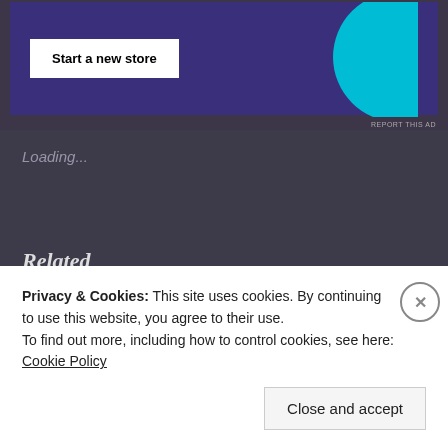[Figure (screenshot): Advertisement banner with dark purple background, 'Start a new store' white button, and a cyan/blue abstract shape on the right. 'REPORT THIS AD' text at bottom right.]
Loading...
Related
[Figure (photo): Close-up of a young Asian man's face in dark/moody lighting.]
[Figure (photo): Two people in an indoor scene with warm golden lighting.]
Privacy & Cookies: This site uses cookies. By continuing to use this website, you agree to their use.
To find out more, including how to control cookies, see here: Cookie Policy
Close and accept